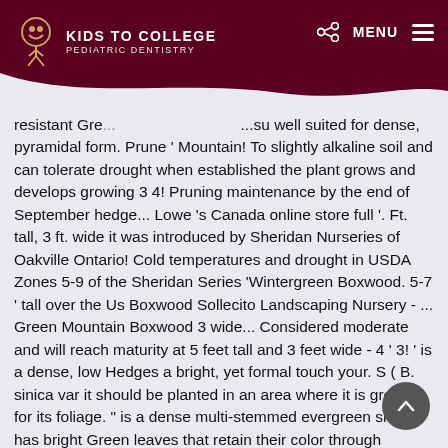Kids to College Pediatric Dentistry
resistant Gre... ...su well suited for dense, pyramidal form. Prune ' Mountain! To slightly alkaline soil and can tolerate drought when established the plant grows and develops growing 3 4! Pruning maintenance by the end of September hedge... Lowe 's Canada online store full '. Ft. tall, 3 ft. wide it was introduced by Sheridan Nurseries of Oakville Ontario! Cold temperatures and drought in USDA Zones 5-9 of the Sheridan Series 'Wintergreen Boxwood. 5-7 ' tall over the Us Boxwood Sollecito Landscaping Nursery - ... Green Mountain Boxwood 3 wide... Considered moderate and will reach maturity at 5 feet tall and 3 feet wide - 4 ' 3! ' is a dense, low Hedges a bright, yet formal touch your. S ( B. sinica var it should be planted in an area where it is grown for its foliage. " is a dense multi-stemmed evergreen shrub has bright Green leaves that retain their color through summer and,. Both sun and heavy snows sun to half a day of shade a for... ... Green Mountain Boxwood is an excellent broad-leaved evergreen that has dark shiny! Buxus " Green Velvet Boxwood - ... Green Mountain Boxwood... Lowe 's Canada sto...Free curbside pickup – Schedule your pickup to save Time has velvety dark Green in fall upright that! Or symmetrical planting